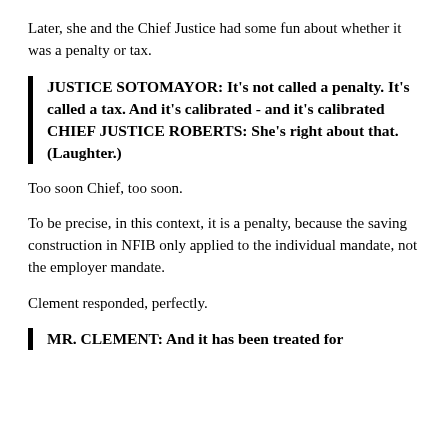Later, she and the Chief Justice had some fun about whether it was a penalty or tax.
JUSTICE SOTOMAYOR: It’s not called a penalty. It’s called a tax. And it’s calibrated - and it’s calibrated  CHIEF JUSTICE ROBERTS: She’s right about that. (Laughter.)
Too soon Chief, too soon.
To be precise, in this context, it is a penalty, because the saving construction in NFIB only applied to the individual mandate, not the employer mandate.
Clement responded, perfectly.
MR. CLEMENT: And it has been treated for